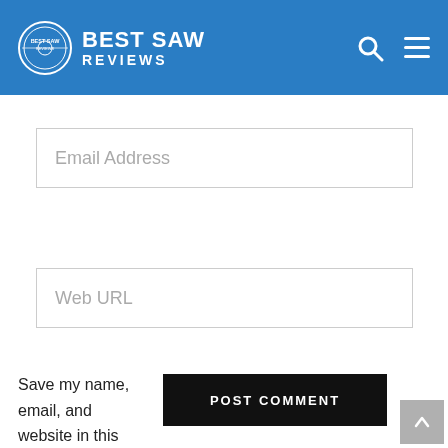BEST SAW REVIEWS
Email Address
Web URL
Save my name, email, and website in this browser
POST COMMENT